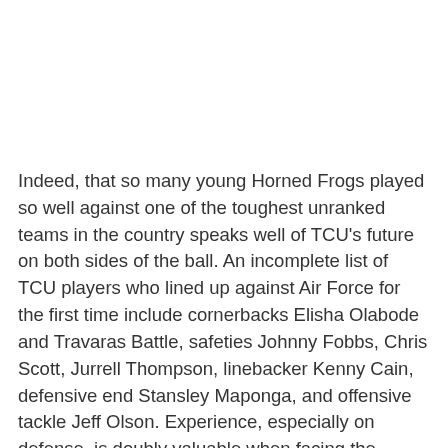Indeed, that so many young Horned Frogs played so well against one of the toughest unranked teams in the country speaks well of TCU's future on both sides of the ball. An incomplete list of TCU players who lined up against Air Force for the first time include cornerbacks Elisha Olabode and Travaras Battle, safeties Johnny Fobbs, Chris Scott, Jurrell Thompson, linebacker Kenny Cain, defensive end Stansley Maponga, and offensive tackle Jeff Olson. Experience, especially on defense, is doubly valuable when facing the Falcons, and TCU was able to amass plenty of it on Saturday.